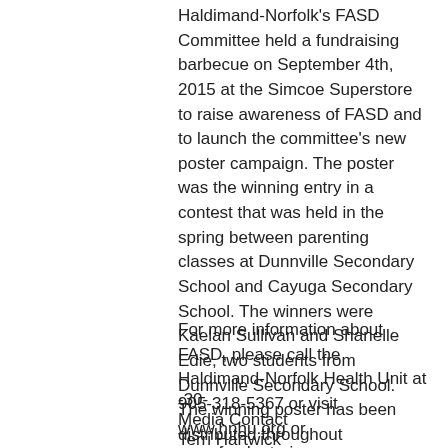Haldimand-Norfolk’s FASD Committee held a fundraising barbecue on September 4th, 2015 at the Simcoe Superstore to raise awareness of FASD and to launch the committee’s new poster campaign.  The poster was the winning entry in a contest that was held in the spring between parenting classes at Dunnville Secondary School and Cayuga Secondary School.  The winners were Kaelan Sullivan and Shanelle Edie, two students from Dunnville Secondary School.  The winning poster has been distributed throughout Haldimand and Norfolk counties to doctor’s offices and pharmacies.
For more information about FASD, please call the Haldimand-Norfolk Health Unit at 905-318-5367 or visit www.hnhu.org or www.fasdontario.ca
-30-
Media Contact
Terri Hartwick